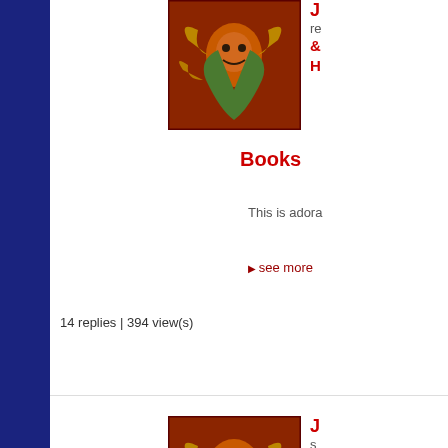[Figure (illustration): Comic book cover thumbnail showing a superhero character with orange/red and green colors]
Books
This is adora
see more
14 replies | 394 view(s)
[Figure (illustration): Comic book cover thumbnail showing a superhero character with orange/red and green colors]
Books
Here's your H
see more
14 replies | 394 view(s)
[Figure (illustration): Comic book cover thumbnail showing a superhero character with orange/red and green colors]
The art really
playing con